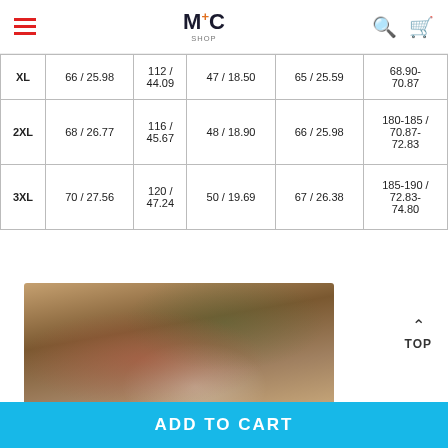MC SHOP header with hamburger menu, logo, search and cart icons
| Size | Length (cm/in) | Chest (cm/in) | Sleeve (cm/in) | Shoulder (cm/in) | Height (cm/in) |
| --- | --- | --- | --- | --- | --- |
| XL | 66 / 25.98 | 112 / 44.09 | 47 / 18.50 | 65 / 25.59 | 68.90-70.87 |
| 2XL | 68 / 26.77 | 116 / 45.67 | 48 / 18.90 | 66 / 25.98 | 180-185 / 70.87-72.83 |
| 3XL | 70 / 27.56 | 120 / 47.24 | 50 / 19.69 | 67 / 26.38 | 185-190 / 72.83-74.80 |
[Figure (photo): Floral patterned jacket/hoodie laid on wooden surface next to a magazine]
TOP
ADD TO CART